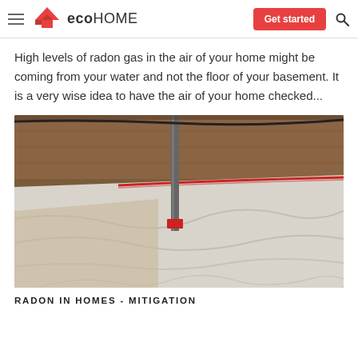eco HOME — Get started
High levels of radon gas in the air of your home might be coming from your water and not the floor of your basement. It is a very wise idea to have the air of your home checked...
[Figure (photo): Interior crawlspace with plastic sheeting/vapor barrier on the floor and walls, with a pipe running vertically through the barrier, and red tape/sealing at joints. The photo shows radon mitigation vapor barrier installation.]
RADON IN HOMES - MITIGATION